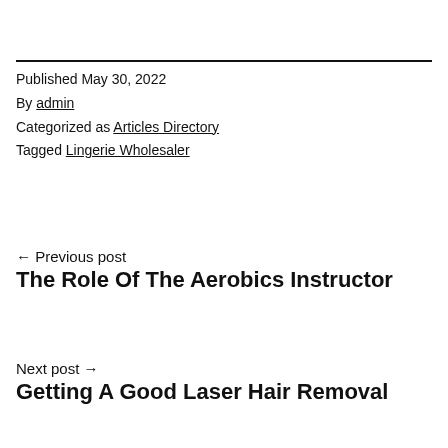Published May 30, 2022
By admin
Categorized as Articles Directory
Tagged Lingerie Wholesaler
← Previous post
The Role Of The Aerobics Instructor
Next post →
Getting A Good Laser Hair Removal